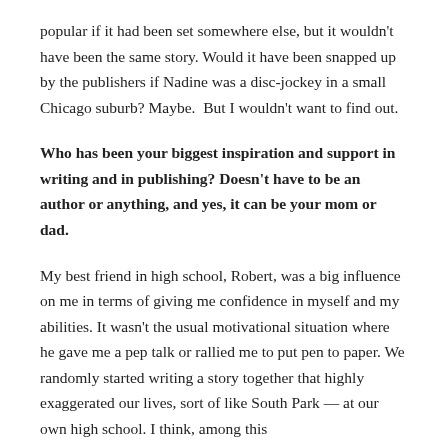popular if it had been set somewhere else, but it wouldn't have been the same story. Would it have been snapped up by the publishers if Nadine was a disc-jockey in a small Chicago suburb? Maybe.  But I wouldn't want to find out.
Who has been your biggest inspiration and support in writing and in publishing? Doesn't have to be an author or anything, and yes, it can be your mom or dad.
My best friend in high school, Robert, was a big influence on me in terms of giving me confidence in myself and my abilities. It wasn't the usual motivational situation where he gave me a pep talk or rallied me to put pen to paper. We randomly started writing a story together that highly exaggerated our lives, sort of like South Park — at our own high school. I think, among this...